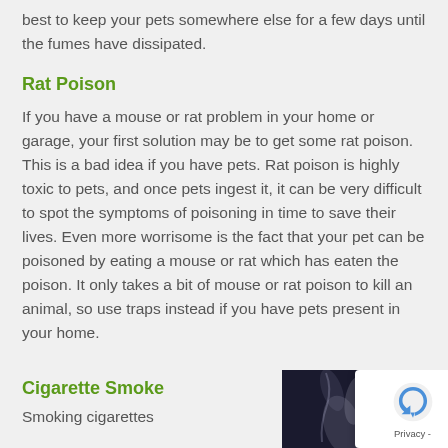best to keep your pets somewhere else for a few days until the fumes have dissipated.
Rat Poison
If you have a mouse or rat problem in your home or garage, your first solution may be to get some rat poison. This is a bad idea if you have pets. Rat poison is highly toxic to pets, and once pets ingest it, it can be very difficult to spot the symptoms of poisoning in time to save their lives. Even more worrisome is the fact that your pet can be poisoned by eating a mouse or rat which has eaten the poison. It only takes a bit of mouse or rat poison to kill an animal, so use traps instead if you have pets present in your home.
Cigarette Smoke
Smoking cigarettes
[Figure (photo): Photo of cigarette smoke wisps against a dark background]